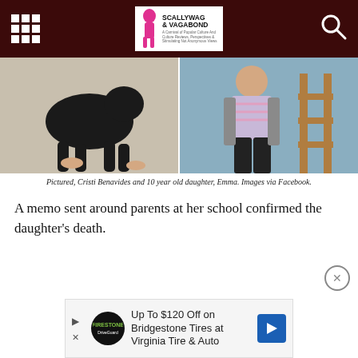Scallywag & Vagabond
[Figure (photo): Two photos side by side: left shows a black dog's legs on sand with human feet visible, right shows a woman standing near a wooden railing outdoors.]
Pictured, Cristi Benavides and 10 year old daughter, Emma. Images via Facebook.
A memo sent around parents at her school confirmed the daughter’s death.
[Figure (other): Advertisement: Up To $120 Off on Bridgestone Tires at Virginia Tire & Auto]